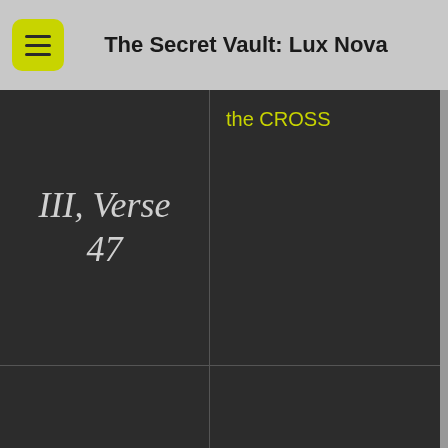The Secret Vault: Lux Nova
| Verse | Content |
| --- | --- |
| III, Verse 47 | the CROSS |
| Century III, Verse 48 |  |
| Century III, Verse ... |  |